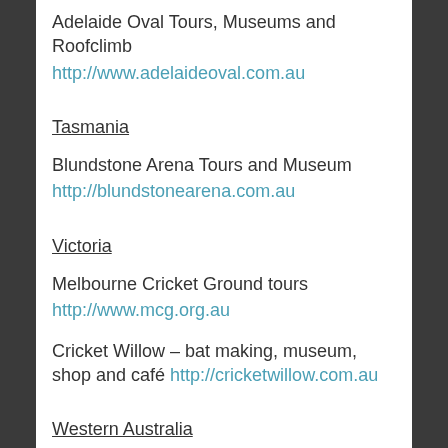Adelaide Oval Tours, Museums and Roofclimb
http://www.adelaideoval.com.au
Tasmania
Blundstone Arena Tours and Museum
http://blundstonearena.com.au
Victoria
Melbourne Cricket Ground tours
http://www.mcg.org.au
Cricket Willow – bat making, museum, shop and café http://cricketwillow.com.au
Western Australia
WACA Ground Tours and Museum
http://waca.com.au/ground/ground-tours-and-